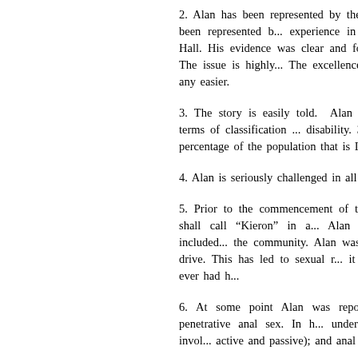2. Alan has been represented by the Offic. The local authority has been represented b... experience in this field. I heard oral evid... Hall. His evidence was clear and forceful... and clear submissions. The issue is highly... The excellence of the representation and th... any easier.
3. The story is easily told. Alan is 41. He... assessed at 48. In terms of classification ... disability. 35 – 50 is "moderate". 20 – ... percentage of the population that is IQ 5... sizeable number.
4. Alan is seriously challenged in all aspect...
5. Prior to the commencement of the proc... with a man whom I shall call "Kieron" in a... Alan received a care package that included... the community. Alan was sociable and p... vigorous sex drive. This has led to sexual r... it is not suggested that Alan has ever had h...
6. At some point Alan was reported to hav... which involved penetrative anal sex. In h... understanding Alan's sexual activity invol... active and passive); and anal sex (again, bo...